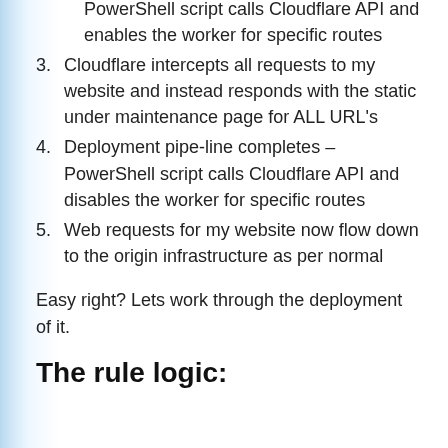PowerShell script calls Cloudflare API and enables the worker for specific routes
3. Cloudflare intercepts all requests to my website and instead responds with the static under maintenance page for ALL URL's
4. Deployment pipe-line completes – PowerShell script calls Cloudflare API and disables the worker for specific routes
5. Web requests for my website now flow down to the origin infrastructure as per normal
Easy right? Lets work through the deployment of it.
The rule logic: